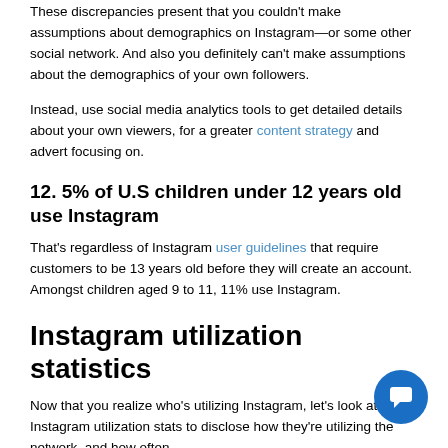These discrepancies present that you couldn't make assumptions about demographics on Instagram—or some other social network. And also you definitely can't make assumptions about the demographics of your own followers.
Instead, use social media analytics tools to get detailed details about your own viewers, for a greater content strategy and advert focusing on.
12. 5% of U.S children under 12 years old use Instagram
That's regardless of Instagram user guidelines that require customers to be 13 years old before they will create an account. Amongst children aged 9 to 11, 11% use Instagram.
Instagram utilization statistics
Now that you realize who's utilizing Instagram, let's look at some Instagram utilization stats to disclose how they're utilizing the network, and how often.